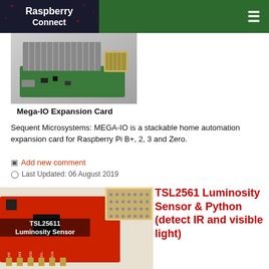Raspberry Connect
[Figure (photo): Photo of a Mega-IO Expansion Card for Raspberry Pi, showing circuit board with heat sink and connectors]
Mega-IO Expansion Card
Sequent Microsystems: MEGA-IO is a stackable home automation expansion card for Raspberry Pi B+, 2, 3 and Zero.
Add new comment
Last Updated: 06 August 2019
[Figure (photo): Photo of TSL25611 Luminosity Sensor board with text overlay 'TSL25611 Luminosity Sensor']
TSL2561 Luminosity Sensor & Python (detect IR and visible light)